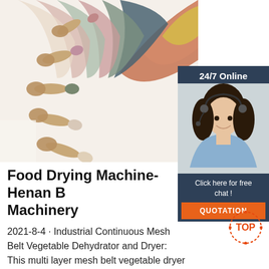[Figure (photo): Colorful wooden spoons with pastel-colored tips arranged in a fan pattern on a white background]
[Figure (photo): Customer service agent woman with headset smiling, with '24/7 Online' label above and 'Click here for free chat!' and 'QUOTATION' button below]
Food Drying Machine-Henan B Machinery
2021-8-4 · Industrial Continuous Mesh Belt Vegetable Dehydrator and Dryer: This multi layer mesh belt vegetable dryer is a continuous convective drying …